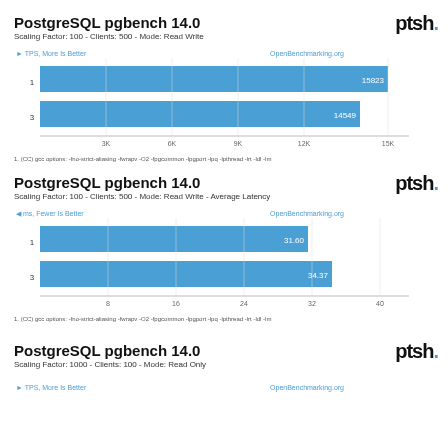PostgreSQL pgbench 14.0
Scaling Factor: 100 - Clients: 500 - Mode: Read Write
[Figure (bar-chart): TPS, More Is Better]
1. (CC) gcc options: -fno-strict-aliasing -fwrapv -O2 -fpgcommon -lpgport -lpq -lpthread -lrt -ldl -lm
PostgreSQL pgbench 14.0
Scaling Factor: 100 - Clients: 500 - Mode: Read Write - Average Latency
[Figure (bar-chart): ms, Fewer Is Better]
1. (CC) gcc options: -fno-strict-aliasing -fwrapv -O2 -fpgcommon -lpgport -lpq -lpthread -lrt -ldl -lm
PostgreSQL pgbench 14.0
Scaling Factor: 1000 - Clients: 100 - Mode: Read Only